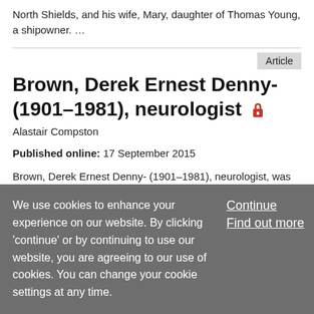North Shields, and his wife, Mary, daughter of Thomas Young, a shipowner. …
Brown, Derek Ernest Denny- (1901–1981), neurologist 🔒
Alastair Compston
Published online: 17 September 2015
Brown, Derek Ernest Denny- (1901–1981), neurologist, was born in Christchurch, New Zealand, on 1 June 1901, the only child of Charles Thomas Brown, insurance broker, and his
We use cookies to enhance your experience on our website. By clicking 'continue' or by continuing to use our website, you are agreeing to our use of cookies. You can change your cookie settings at any time.